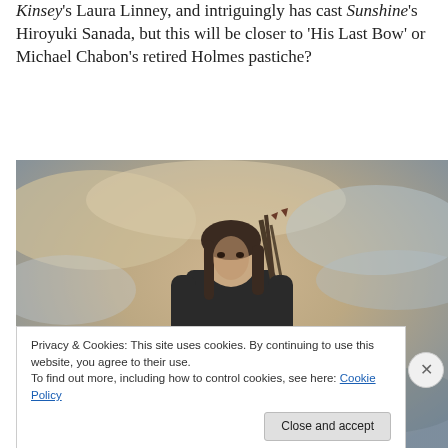Kinsey's Laura Linney, and intriguingly has cast Sunshine's Hiroyuki Sanada, but this will be closer to 'His Last Bow' or Michael Chabon's retired Holmes pastiche?
[Figure (photo): Woman in black leather outfit holding a bow and arrows, standing against a cloudy sky background — resembling a Hunger Games promotional image.]
Privacy & Cookies: This site uses cookies. By continuing to use this website, you agree to their use.
To find out more, including how to control cookies, see here: Cookie Policy
Close and accept